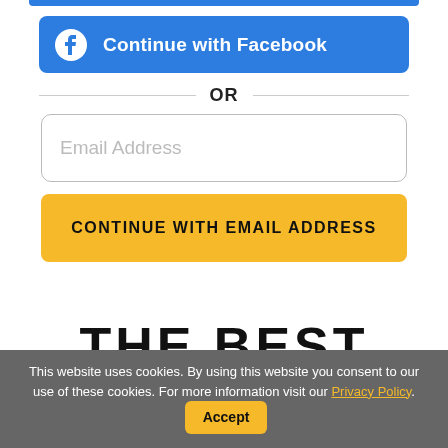[Figure (screenshot): Blue Facebook 'Continue with Facebook' button with white Facebook logo icon on the left]
OR
[Figure (screenshot): Email Address text input field with placeholder text 'Email Address']
CONTINUE WITH EMAIL ADDRESS
THE BEST SONGS
This website uses cookies. By using this website you consent to our use of these cookies. For more information visit our Privacy Policy. Accept